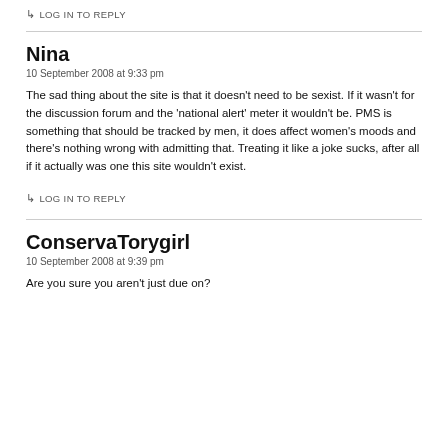↳ LOG IN TO REPLY
Nina
10 September 2008 at 9:33 pm
The sad thing about the site is that it doesn't need to be sexist. If it wasn't for the discussion forum and the 'national alert' meter it wouldn't be. PMS is something that should be tracked by men, it does affect women's moods and there's nothing wrong with admitting that. Treating it like a joke sucks, after all if it actually was one this site wouldn't exist.
↳ LOG IN TO REPLY
ConservaTorygirl
10 September 2008 at 9:39 pm
Are you sure you aren't just due on?